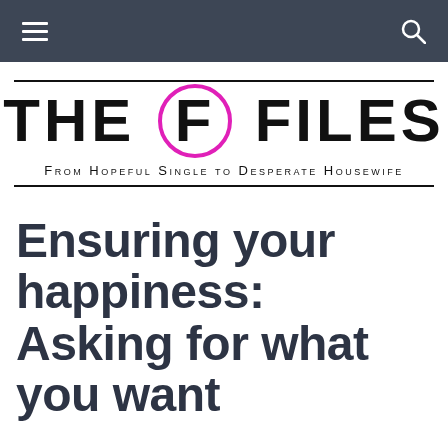Navigation bar with hamburger menu and search icon
[Figure (logo): THE F FILES logo with magenta circle around the F, subtitle: From Hopeful Single to Desperate Housewife]
Ensuring your happiness: Asking for what you want